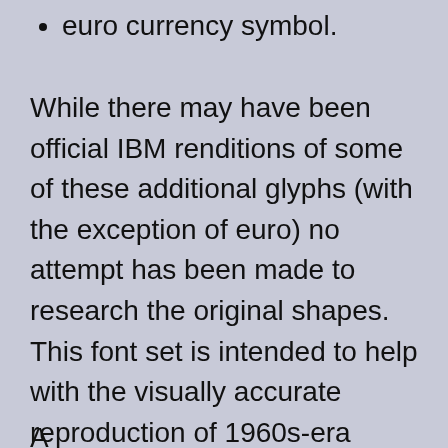euro currency symbol.
While there may have been official IBM renditions of some of these additional glyphs (with the exception of euro) no attempt has been made to research the original shapes. This font set is intended to help with the visually accurate reproduction of 1960s-era punched cards, mostly coinciding with my interest in the FORTRAN programming language. No attempt has been made to use historical BCD/EBCDIC encodings in these fonts. We have Unicode now.
...